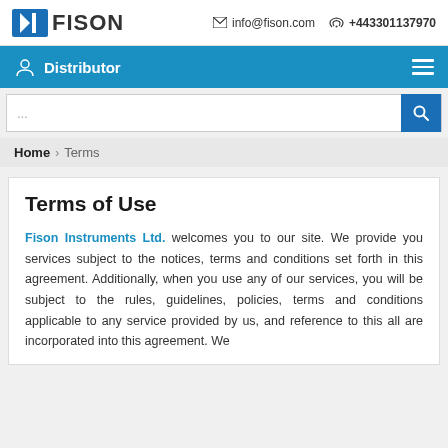info@fison.com  +443301137970
Distributor
...
Home > Terms
Terms of Use
Fison Instruments Ltd. welcomes you to our site. We provide you services subject to the notices, terms and conditions set forth in this agreement. Additionally, when you use any of our services, you will be subject to the rules, guidelines, policies, terms and conditions applicable to any service provided by us, and reference to this all are incorporated into this agreement. We